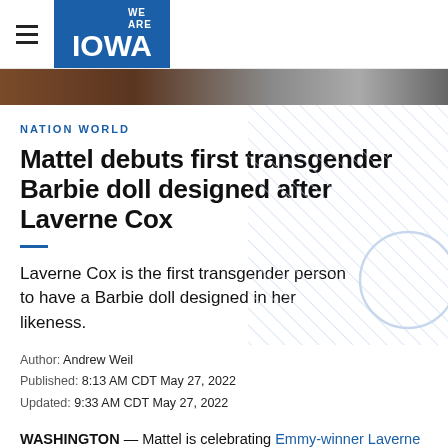WE ARE IOWA
[Figure (photo): Partial photo strip showing a news scene, brownish and gray tones]
NATION WORLD
Mattel debuts first transgender Barbie doll designed after Laverne Cox
Laverne Cox is the first transgender person to have a Barbie doll designed in her likeness.
Author: Andrew Weil
Published: 8:13 AM CDT May 27, 2022
Updated: 9:33 AM CDT May 27, 2022
WASHINGTON — Mattel is celebrating Emmy-winner Laverne Cox with her own Barbie doll.